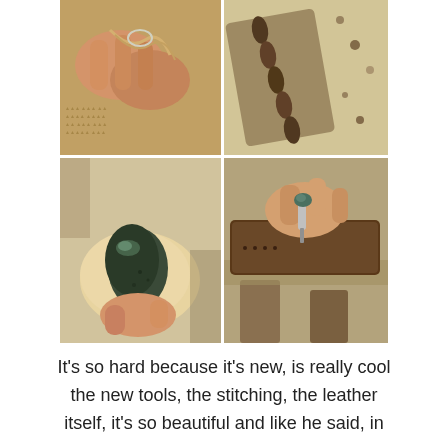[Figure (photo): Four-photo grid showing leatherworking craft process: top-left shows hands threading lace/cord through leather with tools; top-right shows a leather strap with oval studs/beads on a textured surface with holes; bottom-left shows a hand holding a dark green/grey polished stone against light-colored leather; bottom-right shows hands using a tool on leather stitching over a wooden surface.]
It's so hard because it's new, is really cool the new tools, the stitching, the leather itself, it's so beautiful and like he said, in